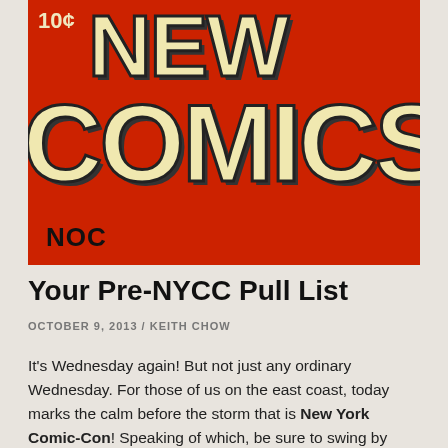[Figure (illustration): Cover image of a vintage comic book with red background. Large cream/yellow text reads 'NEW COMICS' in bold block letters with black outlines. A price tag '10¢' is visible in top left corner. 'NOC' appears in bold black text at the bottom left.]
Your Pre-NYCC Pull List
OCTOBER 9, 2013 / KEITH CHOW
It's Wednesday again! But not just any ordinary Wednesday. For those of us on the east coast, today marks the calm before the storm that is New York Comic-Con! Speaking of which, be sure to swing by Booth #2010 and visit me and my SIUniverse buddies at the Epic